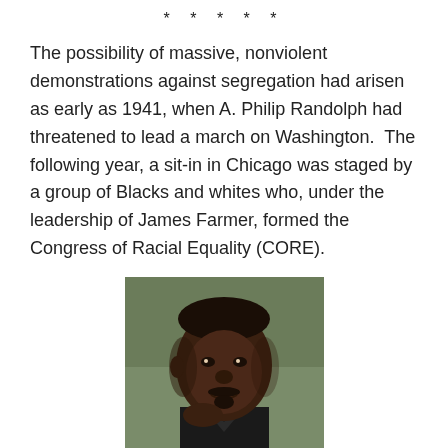* * * * *
The possibility of massive, nonviolent demonstrations against segregation had arisen as early as 1941, when A. Philip Randolph had threatened to lead a march on Washington.  The following year, a sit-in in Chicago was staged by a group of Blacks and whites who, under the leadership of James Farmer, formed the Congress of Racial Equality (CORE).
[Figure (photo): Portrait photograph of a Black man (Martin Luther King Jr.) in a suit, looking at the camera with his chin resting on his hand, with a green background.]